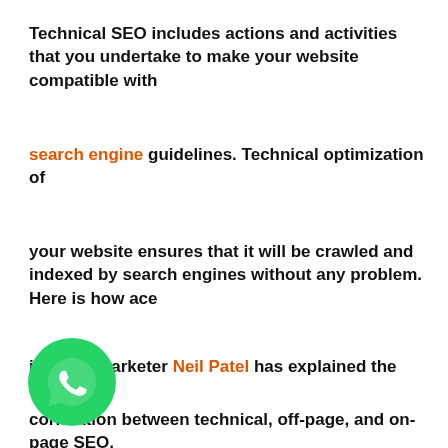Technical SEO includes actions and activities that you undertake to make your website compatible with search engine guidelines. Technical optimization of your website ensures that it will be crawled and indexed by search engines without any problem. Here is how ace internet marketer Neil Patel has explained the correlation between technical, off-page, and on-page SEO.
[Figure (logo): WhatsApp green circular button icon with white phone/chat bubble logo]